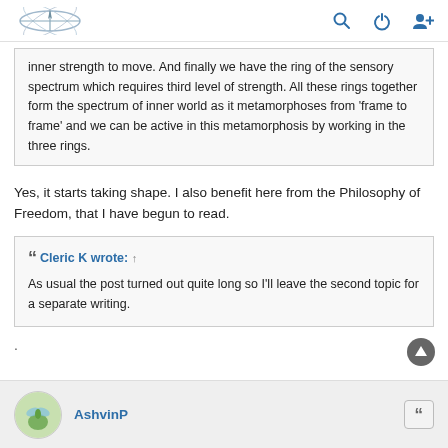[site logo] [search icon] [power icon] [user icon]
inner strength to move. And finally we have the ring of the sensory spectrum which requires third level of strength. All these rings together form the spectrum of inner world as it metamorphoses from 'frame to frame' and we can be active in this metamorphosis by working in the three rings.
Yes, it starts taking shape. I also benefit here from the Philosophy of Freedom, that I have begun to read.
Cleric K wrote: ↑
As usual the post turned out quite long so I'll leave the second topic for a separate writing.
.
AshvinP